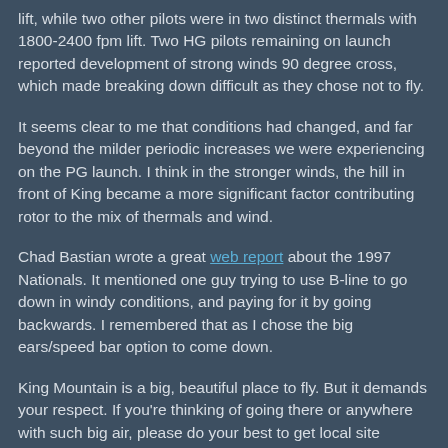lift, while two other pilots were in two distinct thermals with 1800-2400 fpm lift. Two HG pilots remaining on launch reported development of strong winds 90 degree cross, which made breaking down difficult as they chose not to fly.
It seems clear to me that conditions had changed, and far beyond the milder periodic increases we were experiencing on the PG launch. I think in the stronger winds, the hill in front of King became a more significant factor contributing rotor to the mix of thermals and wind.
Chad Bastian wrote a great web report about the 1997 Nationals. It mentioned one guy trying to use B-line to go down in windy conditions, and paying for it by going backwards. I remembered that as I chose the big ears/speed bar option to come down.
King Mountain is a big, beautiful place to fly. But it demands your respect. If you're thinking of going there or anywhere with such big air, please do your best to get local site guidance. It's not a guarantee of...